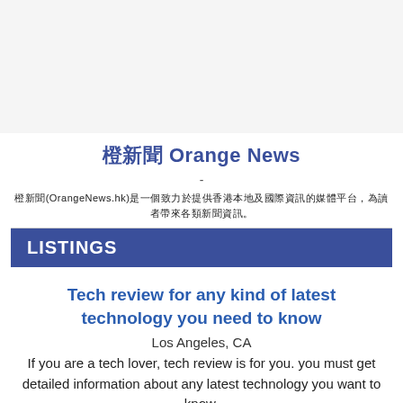橙新聞 Orange News
-
橙新聞(OrangeNews.hk)是一個致力於提供香港本地及國際資訊的媒體平台，為讀者帶來各類新聞資訊。
LISTINGS
Tech review for any kind of latest technology you need to know
Los Angeles, CA
If you are a tech lover, tech review is for you. you must get detailed information about any latest technology you want to know.